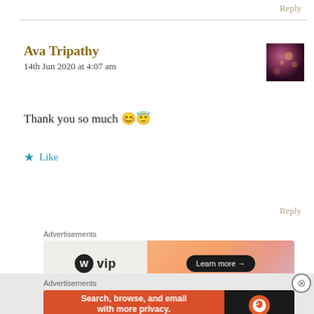Reply
Ava Tripathy
14th Jun 2020 at 4:07 am
Thank you so much 😊😇
★ Like
Reply
Advertisements
[Figure (other): WordPress VIP advertisement banner with gradient orange-pink background and Learn more button]
REPORT THIS AD
Advertisements
[Figure (other): DuckDuckGo advertisement: Search, browse, and email with more privacy. All in One Free App.]